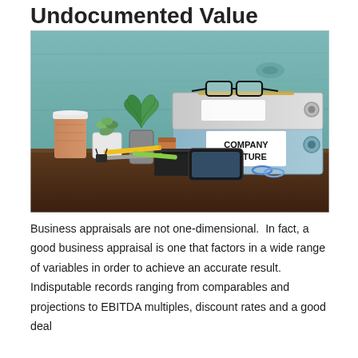Undocumented Value
[Figure (photo): A desk scene with two binders stacked on top of each other, the bottom one labeled 'COMPANY CULTURE' in bold black text on a white label on a blue binder. A gray binder sits on top with a pair of glasses and a pen resting on it. To the left are a coffee cup, two small potted plants, a smartphone, notebook, pencils, and office supplies on a wooden desk surface. The background is a teal/blue-green wooden wall.]
Business appraisals are not one-dimensional.  In fact, a good business appraisal is one that factors in a wide range of variables in order to achieve an accurate result.  Indisputable records ranging from comparables and projections to EBITDA multiples, discount rates and a good deal